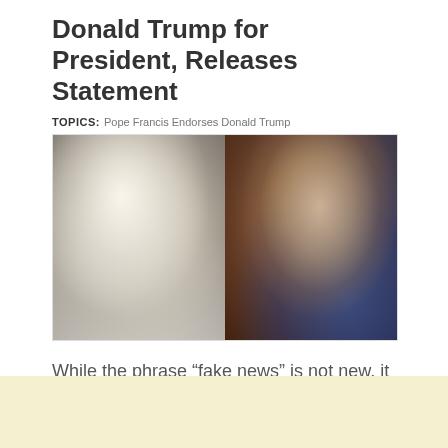Donald Trump for President, Releases Statement
TOPICS: Pope Francis Endorses Donald Trump
[Figure (photo): Side-by-side photos: Pope Francis in white papal robes waving on the left, Donald Trump in a dark suit with blue tie smiling on the right against a dark blue background.]
While the phrase “fake news” is not new, it became a trending topic in early/mid November 2016 and in relation to the 2016 presidential election.